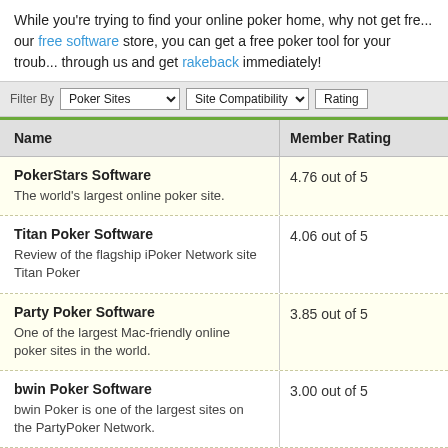While you're trying to find your online poker home, why not get free software store, you can get a free poker tool for your troubles. Sign up through us and get rakeback immediately!
| Name | Member Rating |
| --- | --- |
| PokerStars Software
The world's largest online poker site. | 4.76 out of 5 |
| Titan Poker Software
Review of the flagship iPoker Network site Titan Poker | 4.06 out of 5 |
| Party Poker Software
One of the largest Mac-friendly online poker sites in the world. | 3.85 out of 5 |
| bwin Poker Software
bwin Poker is one of the largest sites on the PartyPoker Network. | 3.00 out of 5 |